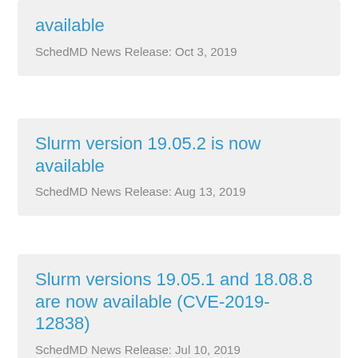available
SchedMD News Release: Oct 3, 2019
Slurm version 19.05.2 is now available
SchedMD News Release: Aug 13, 2019
Slurm versions 19.05.1 and 18.08.8 are now available (CVE-2019-12838)
SchedMD News Release: Jul 10, 2019